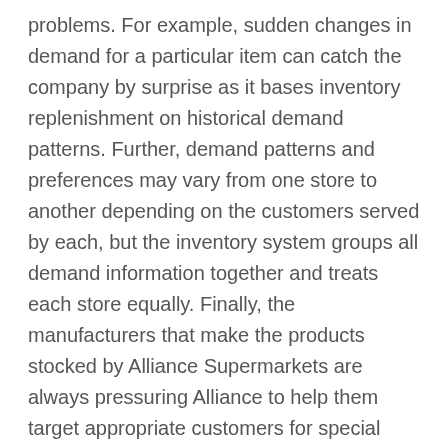problems. For example, sudden changes in demand for a particular item can catch the company by surprise as it bases inventory replenishment on historical demand patterns. Further, demand patterns and preferences may vary from one store to another depending on the customers served by each, but the inventory system groups all demand information together and treats each store equally. Finally, the manufacturers that make the products stocked by Alliance Supermarkets are always pressuring Alliance to help them target appropriate customers for special promotions and sales.The chief information officer (CIO) of Alliance realizes that much more could probably be done with the data collected from its POS system. For example, the company could analyze the relationship between each product's sales and weather patterns. It is even possible to analyze an individual customer's buying habits and identify instances in which a customer may be persuaded to try a different brand of a certain product.For this assignment he